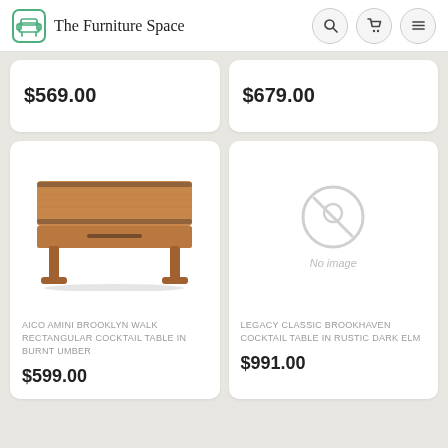The Furniture Space
$569.00
$679.00
[Figure (photo): AICO Amini Brooklyn Walk Rectangular Cocktail Table in Burnt Umber - a low rectangular wooden coffee table with walnut finish and dark metal accents on sled legs]
AICO AMINI BROOKLYN WALK RECTANGULAR COCKTAIL TABLE IN BURNT UMBER
$599.00
[Figure (other): No image placeholder with a circle-slash icon and 'No image' text]
LEGACY CLASSIC BROOKHAVEN COCKTAIL TABLE IN RUSTIC DARK ELM
$991.00